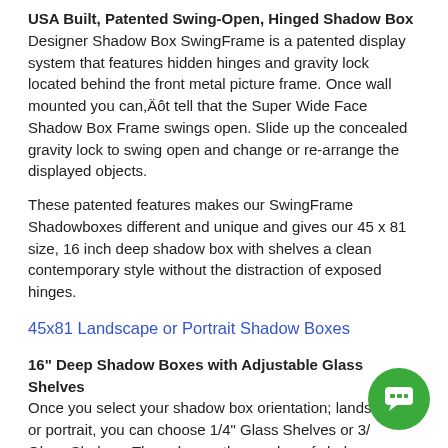USA Built, Patented Swing-Open, Hinged Shadow Box Designer Shadow Box SwingFrame is a patented display system that features hidden hinges and gravity lock located behind the front metal picture frame. Once wall mounted you can,Äôt tell that the Super Wide Face Shadow Box Frame swings open. Slide up the concealed gravity lock to swing open and change or re-arrange the displayed objects.
These patented features makes our SwingFrame Shadowboxes different and unique and gives our 45 x 81 size, 16 inch deep shadow box with shelves a clean contemporary style without the distraction of exposed hinges.
45x81 Landscape or Portrait Shadow Boxes
16" Deep Shadow Boxes with Adjustable Glass Shelves Once you select your shadow box orientation; landscape or portrait, you can choose 1/4" Glass Shelves or 3/ Glass Shelves. Then choose the number of shelves required for your Super Wide Face SwingFrame Shadow